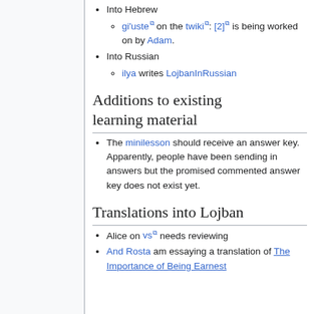Into Hebrew
gi'uste on the twiki: [2] is being worked on by Adam.
Into Russian
ilya writes LojbanInRussian
Additions to existing learning material
The minilesson should receive an answer key. Apparently, people have been sending in answers but the promised commented answer key does not exist yet.
Translations into Lojban
Alice on vs needs reviewing
And Rosta am essaying a translation of The Importance of Being Earnest